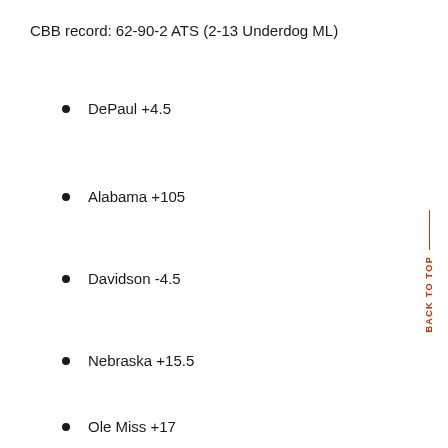CBB record: 62-90-2 ATS (2-13 Underdog ML)
DePaul +4.5
Alabama +105
Davidson -4.5
Nebraska +15.5
Ole Miss +17